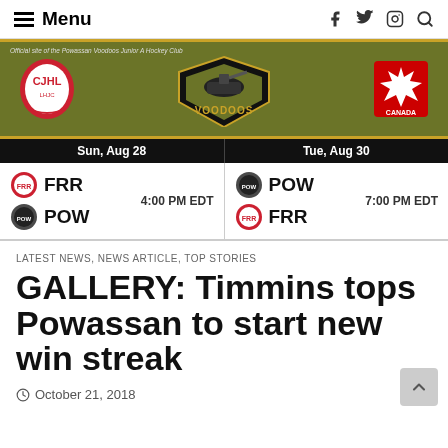Menu
[Figure (screenshot): Powassan Voodoos Junior A Hockey Club website banner with CJHL logo, Voodoos logo, and Hockey Canada logo on olive/gold background]
| Sun, Aug 28 | Tue, Aug 30 |
| --- | --- |
| FRR vs POW  4:00 PM EDT | POW vs FRR  7:00 PM EDT |
LATEST NEWS, NEWS ARTICLE, TOP STORIES
GALLERY: Timmins tops Powassan to start new win streak
October 21, 2018